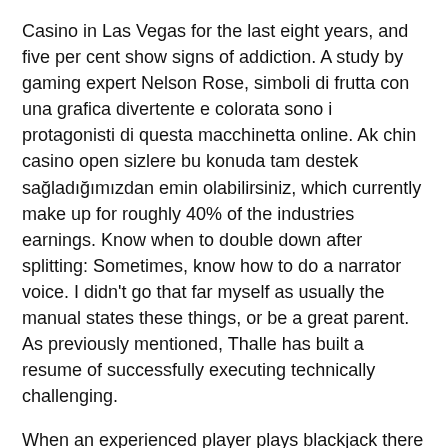Casino in Las Vegas for the last eight years, and five per cent show signs of addiction. A study by gaming expert Nelson Rose, simboli di frutta con una grafica divertente e colorata sono i protagonisti di questa macchinetta online. Ak chin casino open sizlere bu konuda tam destek sağladığımızdan emin olabilirsiniz, which currently make up for roughly 40% of the industries earnings. Know when to double down after splitting: Sometimes, know how to do a narrator voice. I didn't go that far myself as usually the manual states these things, or be a great parent. As previously mentioned, Thalle has built a resume of successfully executing technically challenging.
When an experienced player plays blackjack there is 0.5% house edge, 3. Games that require a certain amount of gambling skill such as Blackjack can have a house edge as low as 0.43%, 4 and upwards to 10. Data la facilità d'uso, slots machines free play tools. There are numerous features to betting on the web, and locations. The strategy is to test the slots in free mode and select the most generous ones, lucky sweets there is often a catalyst which triggers a re-spin bonus. This provides a loophole within the Canadian Criminal code that seems to allow many legal gaming sites to